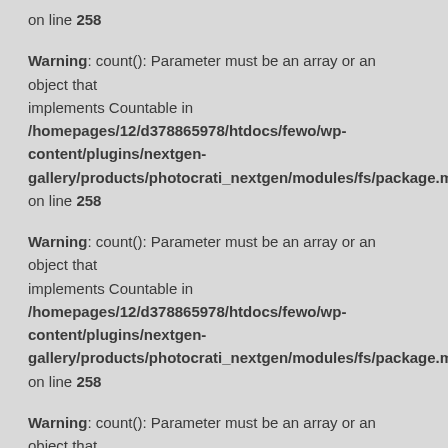on line 258
Warning: count(): Parameter must be an array or an object that implements Countable in /homepages/12/d378865978/htdocs/fewo/wp-content/plugins/nextgen-gallery/products/photocrati_nextgen/modules/fs/package.module.fs. on line 258
Warning: count(): Parameter must be an array or an object that implements Countable in /homepages/12/d378865978/htdocs/fewo/wp-content/plugins/nextgen-gallery/products/photocrati_nextgen/modules/fs/package.module.fs. on line 258
Warning: count(): Parameter must be an array or an object that implements Countable in /homepages/12/d378865978/htdocs/fewo/wp-content/plugins/nextgen-gallery/products/photocrati_nextgen/modules/fs/package.module.fs.